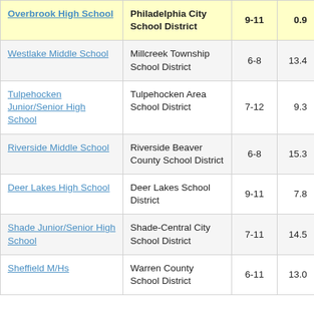| School | District | Grades | Value |
| --- | --- | --- | --- |
| Overbrook High School | Philadelphia City School District | 9-11 | 0.9 |
| Westlake Middle School | Millcreek Township School District | 6-8 | 13.4 |
| Tulpehocken Junior/Senior High School | Tulpehocken Area School District | 7-12 | 9.3 |
| Riverside Middle School | Riverside Beaver County School District | 6-8 | 15.3 |
| Deer Lakes High School | Deer Lakes School District | 9-11 | 7.8 |
| Shade Junior/Senior High School | Shade-Central City School District | 7-11 | 14.5 |
| Sheffield M/Hs | Warren County School District | 6-11 | 13.0 |